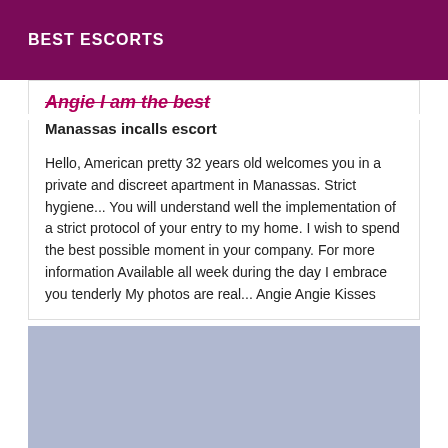BEST ESCORTS
Angie I am the best
Manassas incalls escort
Hello, American pretty 32 years old welcomes you in a private and discreet apartment in Manassas. Strict hygiene... You will understand well the implementation of a strict protocol of your entry to my home. I wish to spend the best possible moment in your company. For more information Available all week during the day I embrace you tenderly My photos are real... Angie Angie Kisses
[Figure (photo): Light blue/periwinkle placeholder image block below the text card]